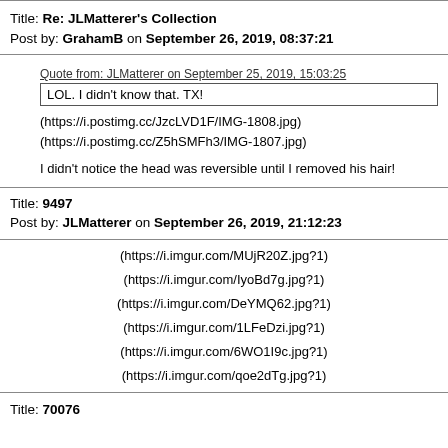Title: Re: JLMatterer's Collection
Post by: GrahamB on September 26, 2019, 08:37:21
Quote from: JLMatterer on September 25, 2019, 15:03:25
LOL. I didn't know that. TX!
(https://i.postimg.cc/JzcLVD1F/IMG-1808.jpg)
(https://i.postimg.cc/Z5hSMFh3/IMG-1807.jpg)
I didn't notice the head was reversible until I removed his hair!
Title: 9497
Post by: JLMatterer on September 26, 2019, 21:12:23
(https://i.imgur.com/MUjR20Z.jpg?1)
(https://i.imgur.com/IyoBd7g.jpg?1)
(https://i.imgur.com/DeYMQ62.jpg?1)
(https://i.imgur.com/1LFeDzi.jpg?1)
(https://i.imgur.com/6WO1I9c.jpg?1)
(https://i.imgur.com/qoe2dTg.jpg?1)
Title: 70076